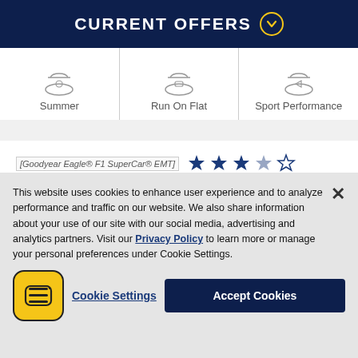CURRENT OFFERS
[Figure (illustration): Three tire category icons: Summer, Run On Flat, Sport Performance]
[Figure (illustration): Broken image placeholder for Goodyear Eagle® F1 SuperCar® EMT with 3.5 star rating and 17 Reviews]
This website uses cookies to enhance user experience and to analyze performance and traffic on our website. We also share information about our use of our site with our social media, advertising and analytics partners. Visit our Privacy Policy to learn more or manage your personal preferences under Cookie Settings.
Cookie Settings  Accept Cookies